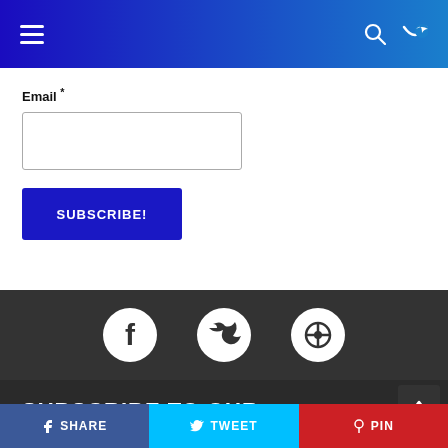Navigation bar with hamburger menu, search icon, and dark mode toggle
Email *
SUBSCRIBE!
[Figure (infographic): Social media icons: Facebook, Twitter, Pinterest in white on dark background]
SUBSCRIBE TO OUR NEWSLETTER
Email *
SHARE  TWEET  PIN